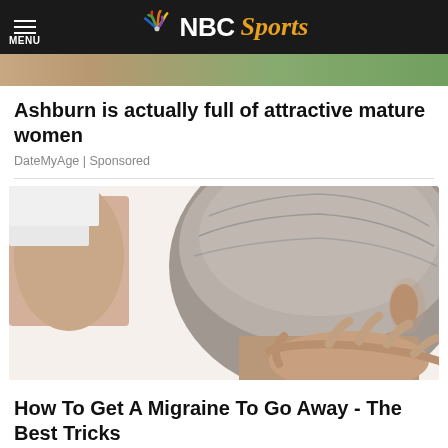MENU | NBC Sports
[Figure (photo): Top strip image — partial photo of person outdoors]
Ashburn is actually full of attractive mature women
DateMyAge | Sponsored
[Figure (photo): Photo showing a hand pressing on back of a grey-haired man's neck/head — medical/migraine context]
How To Get A Migraine To Go Away - The Best Tricks